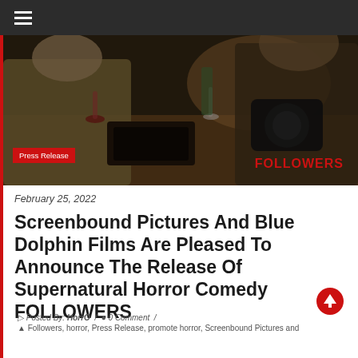≡
[Figure (photo): Dark cinematic photo of people sitting at a table, with cameras and drinks. Two individuals visible in foreground. Dimly lit scene. 'Press Release' badge in red bottom left. 'FOLLOWERS' text in red bottom right.]
February 25, 2022
Screenbound Pictures And Blue Dolphin Films Are Pleased To Announce The Release Of Supernatural Horror Comedy FOLLOWERS
Posted By: HorrO / 0 Comment /
Followers, horror, Press Release, promote horror, Screenbound Pictures and